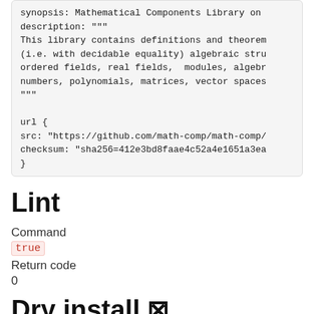synopsis: Mathematical Components Library on
description: """
This library contains definitions and theorem
(i.e. with decidable equality) algebraic stru
ordered fields, real fields,  modules, algebr
numbers, polynomials, matrices, vector spaces
"""
url {
src: "https://github.com/math-comp/math-comp/
checksum: "sha256=412e3bd8faae4c52a4e1651a3ea
}
Lint
Command
true
Return code
0
Dry install ⊠